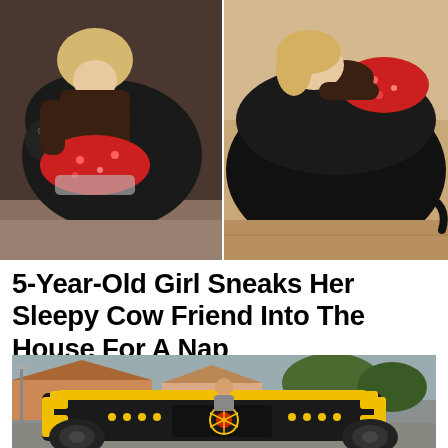[Figure (photo): Two side-by-side photos: left shows a young blonde girl in a red floral dress cuddling a large black cow/calf indoors; right shows the same or similar girl in a red dress sleeping/resting on the back of a large black cow on a wooden floor.]
5-Year-Old Girl Sneaks Her Sleepy Cow Friend Into The House For A Nap
[Figure (photo): A person standing behind a large black and yellow custom-built vehicle resembling a Transformer or robot toy car, parked on a suburban street.]